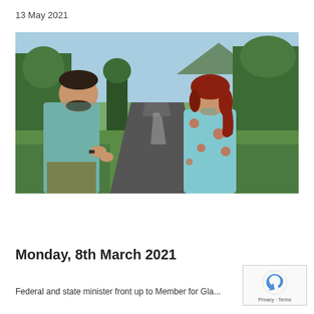13 May 2021
[Figure (photo): Two people standing on the side of a rural road surrounded by trees and hills. A man in a blue check shirt gestures with his hands while speaking to a woman with red hair wearing a light blue floral dress.]
Monday, 8th March 2021
Federal and state minister front up to Member for Gla...